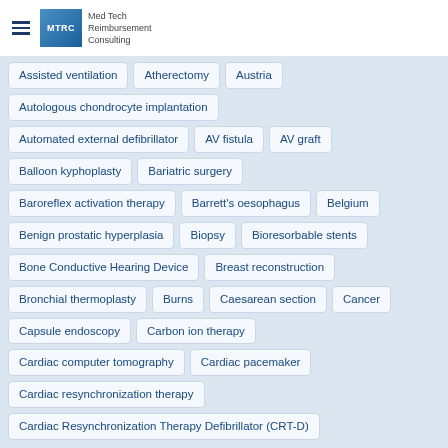MTRC - Med Tech Reimbursement Consulting
Assisted ventilation
Atherectomy
Austria
Autologous chondrocyte implantation
Automated external defibrillator
AV fistula
AV graft
Balloon kyphoplasty
Bariatric surgery
Baroreflex activation therapy
Barrett's oesophagus
Belgium
Benign prostatic hyperplasia
Biopsy
Bioresorbable stents
Bone Conductive Hearing Device
Breast reconstruction
Bronchial thermoplasty
Burns
Caesarean section
Cancer
Capsule endoscopy
Carbon ion therapy
Cardiac computer tomography
Cardiac pacemaker
Cardiac resynchronization therapy
Cardiac Resynchronization Therapy Defibrillator (CRT-D)